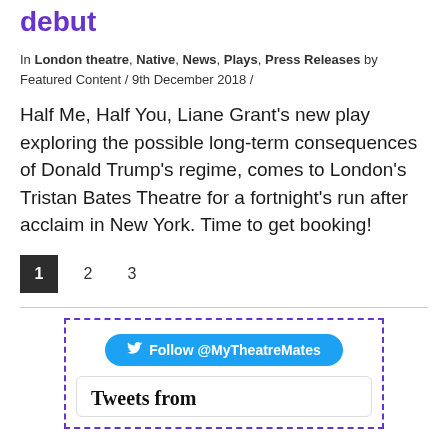debut
In London theatre, Native, News, Plays, Press Releases by Featured Content / 9th December 2018 /
Half Me, Half You, Liane Grant's new play exploring the possible long-term consequences of Donald Trump's regime, comes to London's Tristan Bates Theatre for a fortnight's run after acclaim in New York. Time to get booking!
1  2  3
[Figure (screenshot): Twitter follow widget with dashed purple border, showing a blue 'Follow @MyTheatreMates' button and a 'Tweets from' section below.]